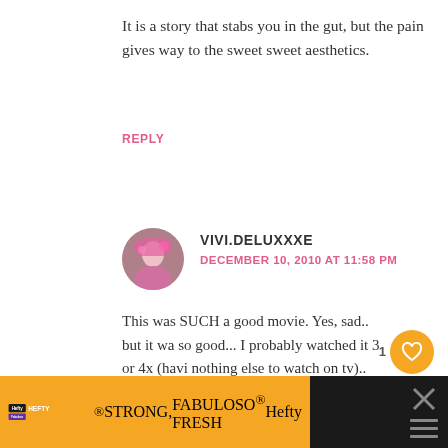It is a story that stabs you in the gut, but the pain gives way to the sweet sweet aesthetics.
REPLY
VIVI.DELUXXXE
DECEMBER 10, 2010 AT 11:58 PM
This was SUCH a good movie. Yes, sad.. but it was so good... I probably watched it 3 or 4x (having nothing else to watch on tv).. but it was THAT good that I could sit there multiple times glued to the tv.
[Figure (other): Advertisement banner for Hefty brand products reading HEFTY STRONG, FABULOSO FRESH]
[Figure (other): What's Next sidebar showing Fashion and Film Friday thumbnail]